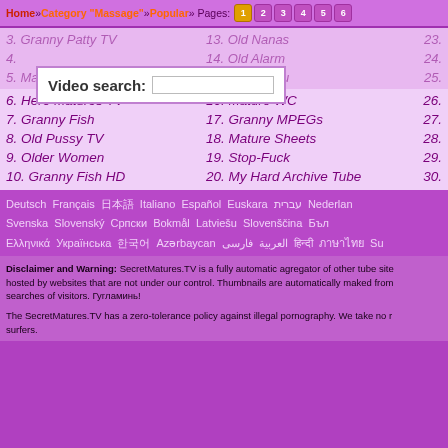Home » Category "Massage" » Popular » Pages: 1 2 3 4 5 6
3. Granny Patty TV   13. Old Nanas   23.
4. [Video search:]   14. Old Alarm   24.
5. Mature A..Z   15. Granny Au   25.
6. Here Matures TV   16. Mature WC   26.
7. Granny Fish   17. Granny MPEGs   27.
8. Old Pussy TV   18. Mature Sheets   28.
9. Older Women   19. Stop-Fuck   29.
10. Granny Fish HD   20. My Hard Archive Tube   30.
Deutsch  Français  日本語  Italiano  Español  Euskara  עברית  Nederlands  Svenska  Slovenský  Српски  Bokmål  Latviešu  Slovenščina  Български  Ελληνικά   Українська  한국어  Azərbaycan  العربية  فارسی  हिन्दी  ภาษาไทย  Su
Disclaimer and Warning: SecretMatures.TV is a fully automatic agregator of other tube sites. All videos here are hosted by websites that are not under our control. Thumbnails are automatically maked from searches of visitors. Гугламинь!
The SecretMatures.TV has a zero-tolerance policy against illegal pornography. We take no responsibility for the content on any website which we link to, please use your own discretion while surfing the links. For parents: protect your children/surfers.